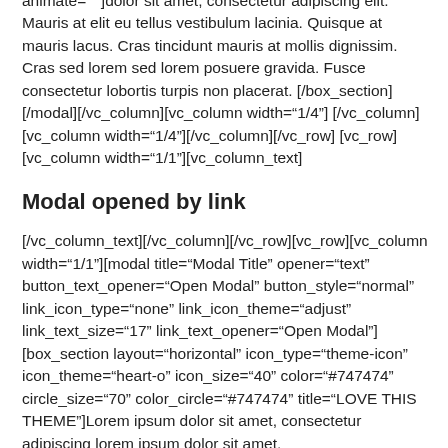animate="" ]dolor sit amet, consectetur adipiscing elit. Mauris at elit eu tellus vestibulum lacinia. Quisque at mauris lacus. Cras tincidunt mauris at mollis dignissim. Cras sed lorem sed lorem posuere gravida. Fusce consectetur lobortis turpis non placerat. [/box_section][/modal][/vc_column][vc_column width="1/4"] [/vc_column][vc_column width="1/4"][/vc_column][/vc_row] [vc_row][vc_column width="1/1"][vc_column_text]
Modal opened by link
[/vc_column_text][/vc_column][/vc_row][vc_row][vc_column width="1/1"][modal title="Modal Title" opener="text" button_text_opener="Open Modal" button_style="normal" link_icon_type="none" link_icon_theme="adjust" link_text_size="17" link_text_opener="Open Modal"][box_section layout="horizontal" icon_type="theme-icon" icon_theme="heart-o" icon_size="40" color="#747474" circle_size="70" color_circle="#747474" title="LOVE THIS THEME"]Lorem ipsum dolor sit amet, consectetur adipiscing lorem ipsum dolor sit amet,